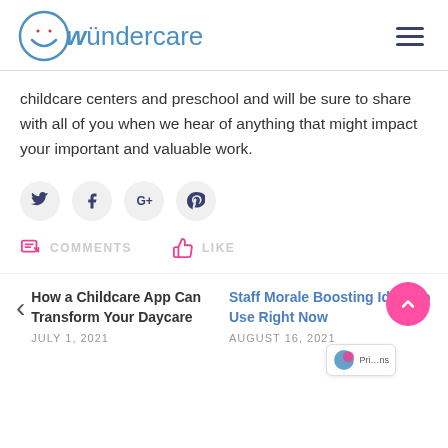[Figure (logo): Wundercare logo with circular icon and text]
childcare centers and preschool and will be sure to share with all of you when we hear of anything that might impact your important and valuable work.
[Figure (infographic): Social media share buttons: Twitter, Facebook, Google+, Pinterest]
COMMENTS   LIKE
How a Childcare App Can Transform Your Daycare
JULY 1, 2021
Staff Morale Boosting Ideas to Use Right Now
AUGUST 16, 2021